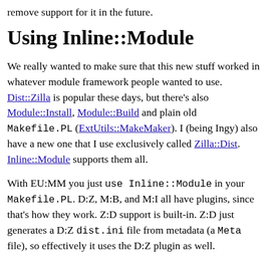remove support for it in the future.
Using Inline::Module
We really wanted to make sure that this new stuff worked in whatever module framework people wanted to use. Dist::Zilla is popular these days, but there's also Module::Install, Module::Build and plain old Makefile.PL (ExtUtils::MakeMaker). I (being Ingy) also have a new one that I use exclusively called Zilla::Dist. Inline::Module supports them all.
With EU:MM you just use Inline::Module in your Makefile.PL. D:Z, M:B, and M:I all have plugins, since that's how they work. Z:D support is built-in. Z:D just generates a D:Z dist.ini file from metadata (a Meta file), so effectively it uses the D:Z plugin as well.